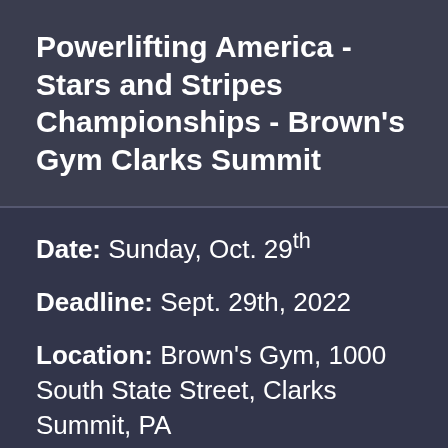Powerlifting America - Stars and Stripes Championships - Brown's Gym Clarks Summit
Date: Sunday, Oct. 29th
Deadline: Sept. 29th, 2022
Location: Brown's Gym, 1000 South State Street, Clarks Summit, PA
Entry: $120 (Includes event shirt)
Official Sanctified 2022 Powerlifting...